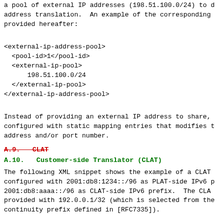a pool of external IP addresses (198.51.100.0/24) to do address translation.  An example of the corresponding provided hereafter:
<external-ip-address-pool>
  <pool-id>1</pool-id>
  <external-ip-pool>
      198.51.100.0/24
  </external-ip-pool>
</external-ip-address-pool>
Instead of providing an external IP address to share, configured with static mapping entries that modifies t address and/or port number.
A.9.  CLAT
A.10.  Customer-side Translator (CLAT)
The following XML snippet shows the example of a CLAT configured with 2001:db8:1234::/96 as PLAT-side IPv6 p 2001:db8:aaaa::/96 as CLAT-side IPv6 prefix.  The CLA provided with 192.0.0.1/32 (which is selected from the continuity prefix defined in [RFC7335]).
<clat-ipv6-prefixes>
    <ipv6-prefix>
        2001:db8:aaaa::/96
    </ipv6-prefix>
</clat-ipv6-prefixes>